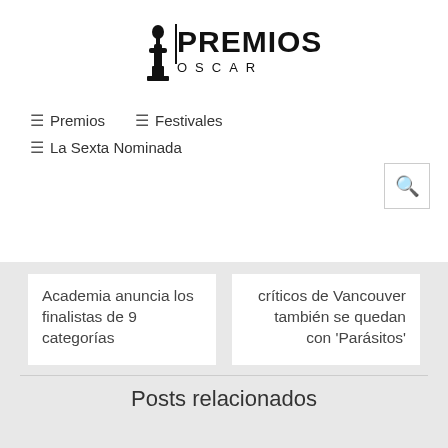[Figure (logo): Premios Oscar logo with Oscar statuette silhouette and text PREMIOS OSCAR]
≡ Premios   ≡ Festivales
≡ La Sexta Nominada
Academia anuncia los finalistas de 9 categorías
críticos de Vancouver también se quedan con 'Parásitos'
Posts relacionados